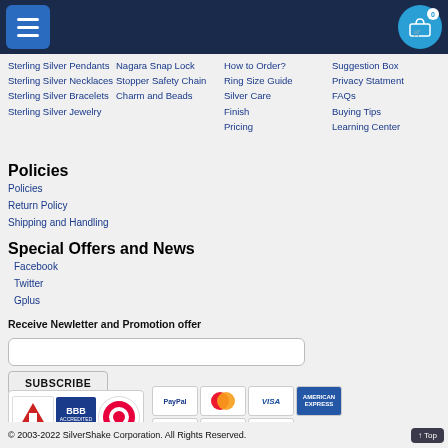Navigation header with hamburger menu and shopping cart
Sterling Silver Pendants
Sterling Silver Necklaces
Sterling Silver Bracelets
Sterling Silver Jewelry
Nagara Snap Lock
Stopper Safety Chain
Charm and Beads
How to Order?
Ring Size Guide
Silver Care
Finish
Pricing
Suggestion Box
Privacy Statment
FAQs
Buying Tips
Learning Center
Policies
Policies
Return Policy
Shipping and Handling
Special Offers and News
Facebook
Twitter
Gplus
Receive Newletter and Promotion offer
[Figure (other): Trust badges: AlertSite, BBB Accredited Business, Thawte, and payment icons: PayPal, MasterCard, Visa, American Express, amazon, ebay, Authorize.net]
© 2003-2022 SilverShake Corporation. All Rights Reserved.